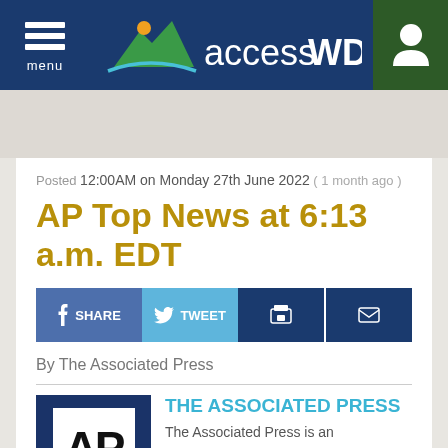accessWDUN — menu / user icon navigation header
Posted 12:00AM on Monday 27th June 2022 ( 1 month ago )
AP Top News at 6:13 a.m. EDT
SHARE  TWEET  [print]  [email]
By The Associated Press
[Figure (logo): AP (Associated Press) logo — white AP letters on dark blue background with white inner box]
THE ASSOCIATED PRESS
The Associated Press is an